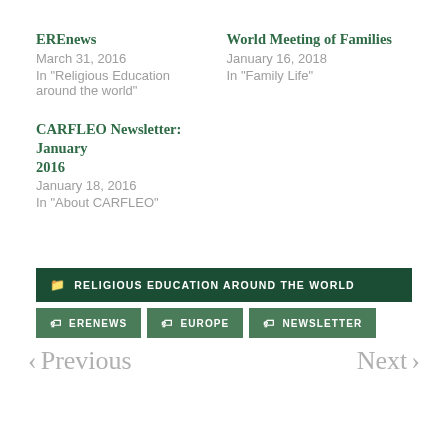EREnews
March 31, 2016
In "Religious Education around the world"
World Meeting of Families
January 16, 2018
In "Family Life"
CARFLEO Newsletter: January 2016
January 18, 2016
In "About CARFLEO"
RELIGIOUS EDUCATION AROUND THE WORLD
ERENEWS
EUROPE
NEWSLETTER
< Previous
Next >